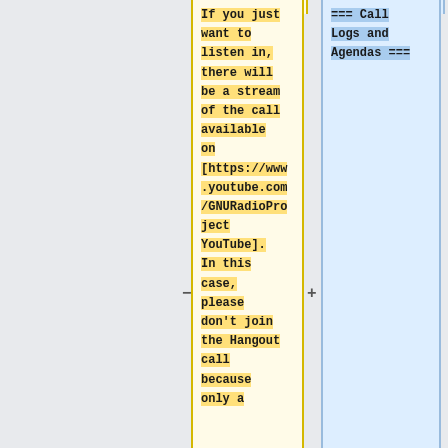If you just want to listen in, there will be a stream of the call available on [https://www.youtube.com/GNURadioProject YouTube]. In this case, please don't join the Hangout call because only a
=== Call Logs and Agendas ===